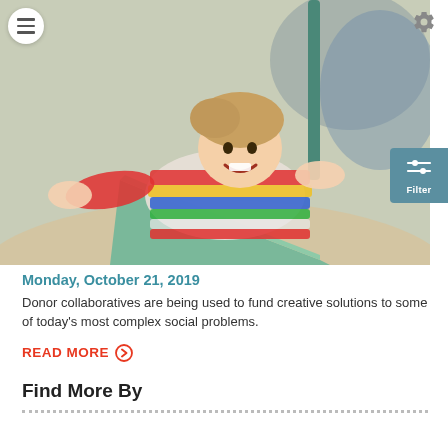[Figure (photo): Child in colorful striped jacket sliding down a playground slide with arms outstretched, laughing. Another child visible in the background.]
Monday, October 21, 2019
Donor collaboratives are being used to fund creative solutions to some of today's most complex social problems.
READ MORE ⊕
Find More By